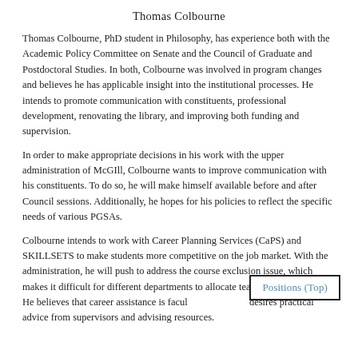Thomas Colbourne
Thomas Colbourne, PhD student in Philosophy, has experience both with the Academic Policy Committee on Senate and the Council of Graduate and Postdoctoral Studies. In both, Colbourne was involved in program changes and believes he has applicable insight into the institutional processes. He intends to promote communication with constituents, professional development, renovating the library, and improving both funding and supervision.
In order to make appropriate decisions in his work with the upper administration of McGIll, Colbourne wants to improve communication with his constituents. To do so, he will make himself available before and after Council sessions. Additionally, he hopes for his policies to reflect the specific needs of various PGSAs.
Colbourne intends to work with Career Planning Services (CaPS) and SKILLSETS to make students more competitive on the job market. With the administration, he will push to address the course exclusion issue, which makes it difficult for different departments to allocate teaching opportunities. He believes that career assistance is faculty-specific and desires practical advice from supervisors and advising resources.